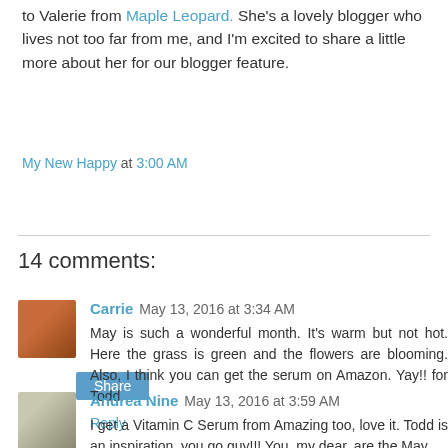to Valerie from Maple Leopard. She's a lovely blogger who lives not too far from me, and I'm excited to share a little more about her for our blogger feature.
My New Happy at 3:00 AM
Share
14 comments:
Carrie May 13, 2016 at 3:34 AM
May is such a wonderful month. It's warm but not hot. Here the grass is green and the flowers are blooming. Also, I think you can get the serum on Amazon. Yay!! for Todd.
Reply
Andrea Nine May 13, 2016 at 3:59 AM
I get a Vitamin C Serum from Amazing too, love it. Todd is an inspiration, you go guy!!! You, my dear, are the May...